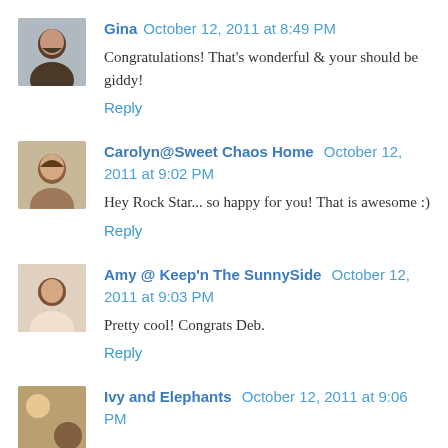Gina  October 12, 2011 at 8:49 PM
Congratulations! That's wonderful & your should be giddy!
Reply
Carolyn@Sweet Chaos Home  October 12, 2011 at 9:02 PM
Hey Rock Star... so happy for you! That is awesome :)
Reply
Amy @ Keep'n The SunnySide  October 12, 2011 at 9:03 PM
Pretty cool! Congrats Deb.
Reply
Ivy and Elephants  October 12, 2011 at 9:06 PM